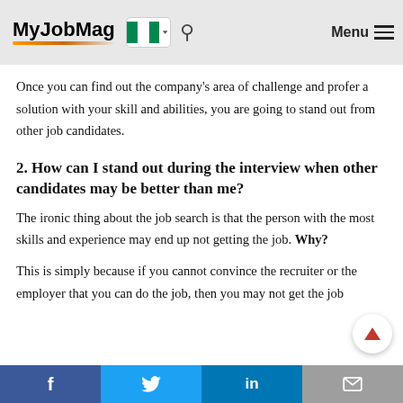MyJobMag
Once you can find out the company's area of challenge and profer a solution with your skill and abilities, you are going to stand out from other job candidates.
2. How can I stand out during the interview when other candidates may be better than me?
The ironic thing about the job search is that the person with the most skills and experience may end up not getting the job. Why?
This is simply because if you cannot convince the recruiter or the employer that you can do the job, then you may not get the job
f  Twitter  in  mail